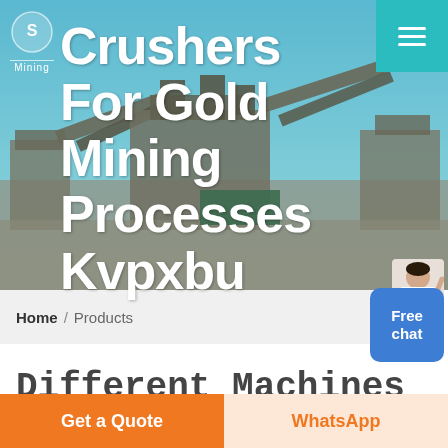[Figure (photo): Hero banner showing industrial mining/crushing machinery facility with conveyor belts and processing equipment against a blue sky background]
Crushers For Gold Mining Processes Kvpxbu
Home / Products
Free chat
Different Machines To Meet All Need
[Figure (photo): Partial view of an industrial building interior with blue roof structure]
Get a Quote
WhatsApp